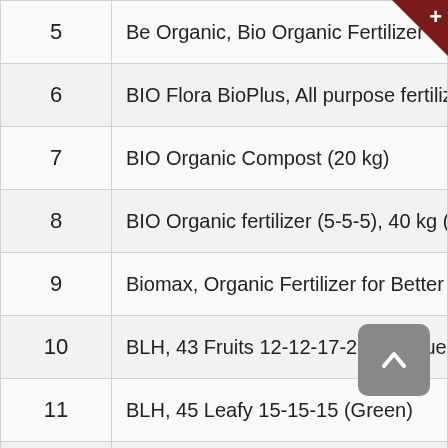| # | Name |
| --- | --- |
| 5 | Be Organic, Bio Organic Fertilizer |
| 6 | BIO Flora BioPlus, All purpose fertilizer, 1.5 |
| 7 | BIO Organic Compost (20 kg) |
| 8 | BIO Organic fertilizer (5-5-5), 40 kg (chicke |
| 9 | Biomax, Organic Fertilizer for Better Life, 1 |
| 10 | BLH, 43 Fruits 12-12-17-2+TE (Blue) |
| 11 | BLH, 45 Leafy 15-15-15 (Green) |
| 12 | BLH, 47 Flowering 13-13-21 (red) |